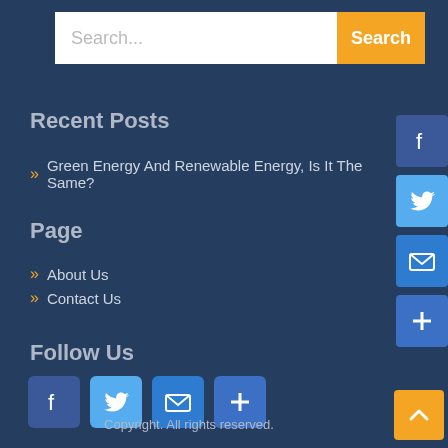[Figure (screenshot): Search bar with text input placeholder 'Search...' and orange 'Search' button]
Recent Posts
» Green Energy And Renewable Energy, Is It The Same?
Page
» About Us
» Contact Us
Follow Us
[Figure (other): Social media icons row: Facebook, Twitter, Email, Plus]
[Figure (other): Right-side social media icons: Facebook, Twitter, Email, Plus]
Copyright. All rights reserved.